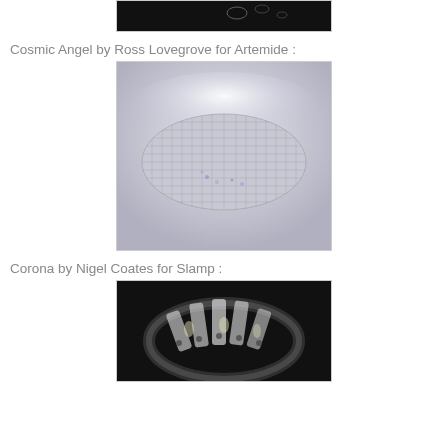[Figure (photo): Top partial image - dark background with small light shapes (partially visible at top of page)]
Cosmic Angel by Ross Lovegrove for Artemide :
[Figure (photo): Cosmic Angel lamp by Ross Lovegrove for Artemide - an oval/pod-shaped ceiling light with metallic mesh/grid pattern surface showing blue-purple light reflections on a light grey background]
Corona by Nigel Coates for Slamp :
[Figure (photo): Corona lamp by Nigel Coates for Slamp - a ring/crown shaped pendant light with white translucent panels and dark spots, photographed against a dark background]